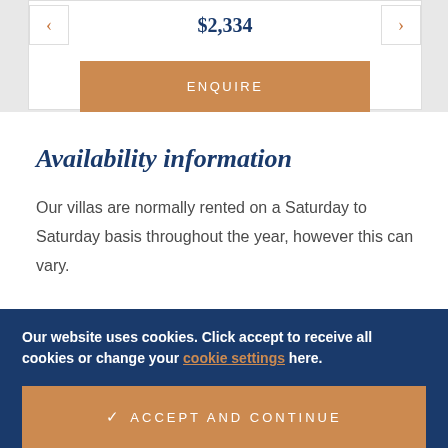$2,334
ENQUIRE
Availability information
Our villas are normally rented on a Saturday to Saturday basis throughout the year, however this can vary.
Our website uses cookies. Click accept to receive all cookies or change your cookie settings here.
✓  ACCEPT AND CONTINUE